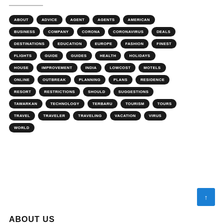ABOUT ADVICE AGENT AGENTS AMERICAN BUSINESS COMPANY CORONA CORONAVIRUS DEALS DESTINATIONS EDUCATION EUROPE FASHION FINEST FLIGHTS GUIDE GUIDES HEALTH HOLIDAYS HOUSE IMPROVEMENT INDIA LOWCOST MOTELS ONLINE OUTBREAK PLANNING PLANS RESIDENCE RESORT RESTRICTIONS SHOULD SUGGESTIONS TAWARKAN TECHNOLOGY TERBARU TOURISM TOURS TRAVEL TRAVELER TRAVELING VACATION VIRUS WORLD
ABOUT US